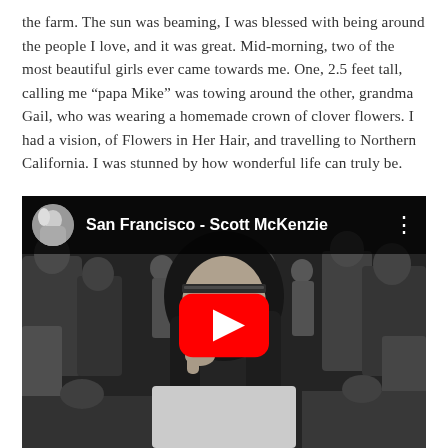the farm. The sun was beaming, I was blessed with being around the people I love, and it was great. Mid-morning, two of the most beautiful girls ever came towards me. One, 2.5 feet tall, calling me “papa Mike” was towing around the other, grandma Gail, who was wearing a homemade crown of clover flowers. I had a vision, of Flowers in Her Hair, and travelling to Northern California. I was stunned by how wonderful life can truly be.
[Figure (screenshot): Embedded YouTube video player showing 'San Francisco - Scott McKenzie'. The thumbnail is a black-and-white photo of a young woman with a headband in a crowd. A red YouTube play button is centered. The top bar shows a circular avatar, the video title, and a three-dot menu icon.]